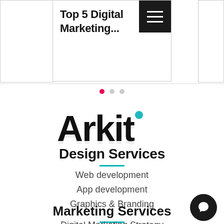Top 5 Digital Marketing...
[Figure (screenshot): Navigation card showing partial title 'Top 5 Digital Marketing...' with a black hamburger menu button in the top right corner]
[Figure (other): Carousel dots: one active red/pink dot and two inactive gray dots]
[Figure (logo): Arkit logo in bold black rounded font with a teal/cyan circle dot above the letter i]
Design Services
Web development
App development
Graphics & Branding
Marketing Services
Digital Marketing Strategy